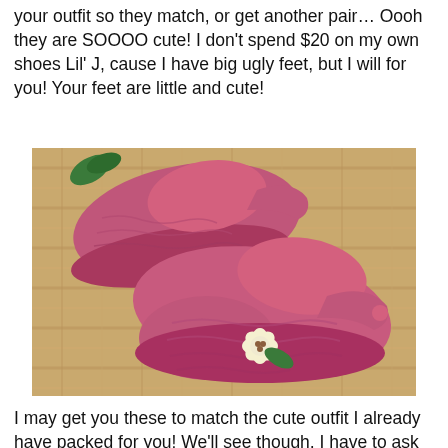your outfit so they match, or get another pair… Oooh they are SOOOO cute! I don't spend $20 on my own shoes Lil' J, cause I have big ugly feet, but I will for you! Your feet are little and cute!
[Figure (photo): Photo of two pink crocheted baby shoes with a cream flower and green leaf embellishment, resting on a wicker basket surface.]
I may get you these to match the cute outfit I already have packed for you! We'll see though, I have to ask your daddy, and he thinks you already have enough shoes. … Don't ever let a